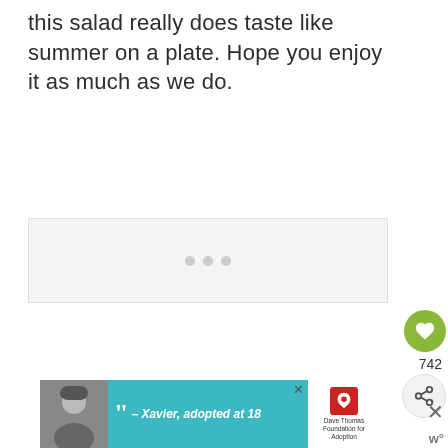this salad really does taste like summer on a plate. Hope you enjoy it as much as we do.
[Figure (illustration): Large light gray placeholder image area with three gray loading dots centered in the middle]
[Figure (infographic): Advertisement banner with teal background, black-and-white photo of a bearded man in a beanie, quotation mark, text '– Xavier, adopted at 18', Dave Thomas Foundation for Adoption logo, and close/dismiss buttons]